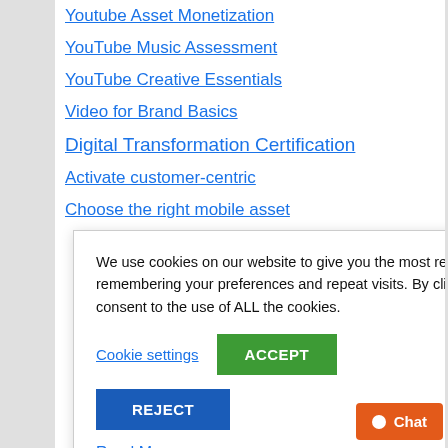Youtube Asset Monetization
YouTube Music Assessment
YouTube Creative Essentials
Video for Brand Basics
Digital Transformation Certification
Activate customer-centric
Choose the right mobile asset
…mers
…essages
…y
…entric
…tic
…g basics
…orm
Android Enterprise Professional
We use cookies on our website to give you the most relevant experience by remembering your preferences and repeat visits. By clicking “Accept”, you consent to the use of ALL the cookies.
Cookie settings
ACCEPT
REJECT
Read More
Chat